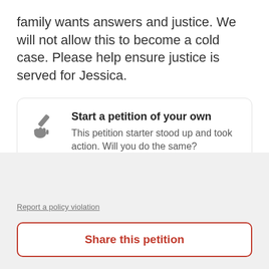family wants answers and justice. We will not allow this to become a cold case. Please help ensure justice is served for Jessica.
[Figure (illustration): Gray icon of a hand holding a pen/pencil, representing petition signing]
Start a petition of your own
This petition starter stood up and took action. Will you do the same?
Report a policy violation
Share this petition